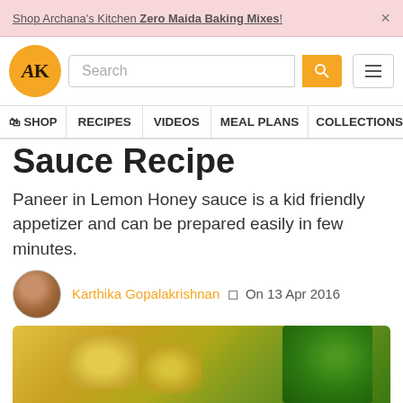Shop Archana's Kitchen Zero Maida Baking Mixes! ×
[Figure (logo): Archana's Kitchen logo — orange circle with AK initials]
Search
🛍 SHOP  RECIPES  VIDEOS  MEAL PLANS  COLLECTIONS  ART
Sauce Recipe
Paneer in Lemon Honey sauce is a kid friendly appetizer and can be prepared easily in few minutes.
Karthika Gopalakrishnan  ◻  On 13 Apr 2016
[Figure (photo): Photo of paneer pieces in lemon honey sauce with herbs/cilantro in background]